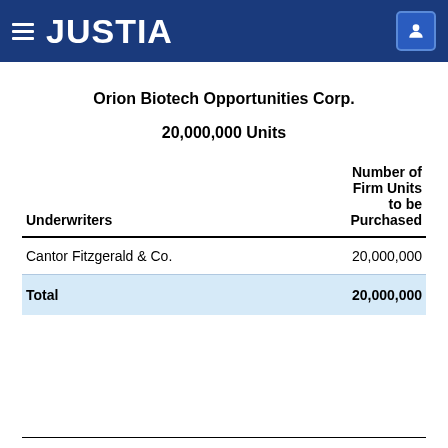JUSTIA
Orion Biotech Opportunities Corp.
20,000,000 Units
| Underwriters | Number of Firm Units to be Purchased |
| --- | --- |
| Cantor Fitzgerald & Co. | 20,000,000 |
| Total | 20,000,000 |